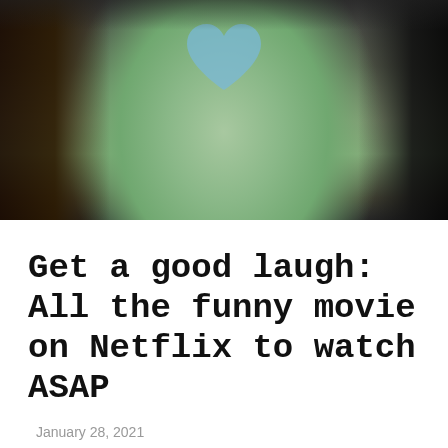[Figure (photo): Partial view of people, one wearing a light green t-shirt with a blue heart design, against a dark background]
Get a good laugh: All the funny movie on Netflix to watch ASAP
January 28, 2021
[Figure (photo): Woman with colorful hair wearing a nurse hat with a red cross symbol, against a dark wooden background, with a red accent bar on the left edge]